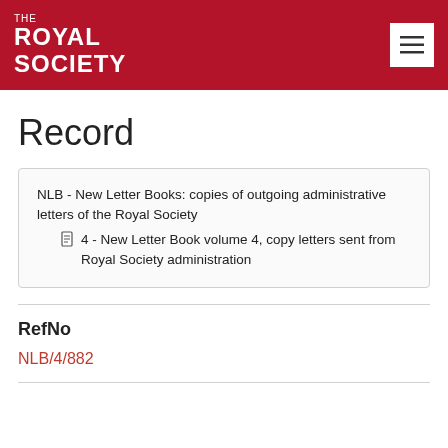THE ROYAL SOCIETY
Record
NLB - New Letter Books: copies of outgoing administrative letters of the Royal Society
4 - New Letter Book volume 4, copy letters sent from Royal Society administration
RefNo
NLB/4/882